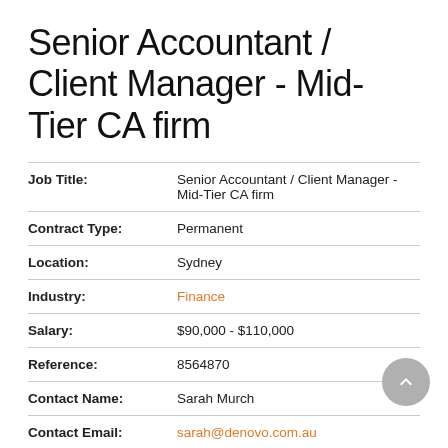Senior Accountant / Client Manager - Mid-Tier CA firm
| Field | Value |
| --- | --- |
| Job Title: | Senior Accountant / Client Manager - Mid-Tier CA firm |
| Contract Type: | Permanent |
| Location: | Sydney |
| Industry: | Finance |
| Salary: | $90,000 - $110,000 |
| Reference: | 8564870 |
| Contact Name: | Sarah Murch |
| Contact Email: | sarah@denovo.com.au |
| Job Published: | March 10, 2022 17:32 |